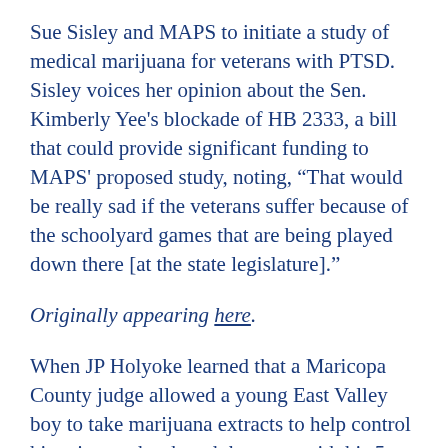Sue Sisley and MAPS to initiate a study of medical marijuana for veterans with PTSD. Sisley voices her opinion about the Sen. Kimberly Yee's blockade of HB 2333, a bill that could provide significant funding to MAPS' proposed study, noting, “That would be really sad if the veterans suffer because of the schoolyard games that are being played down there [at the state legislature].”
Originally appearing here.
When JP Holyoke learned that a Maricopa County judge allowed a young East Valley boy to take marijuana extracts to help control his seizures, he shared the news with his 5-year-old daughter, Reese.